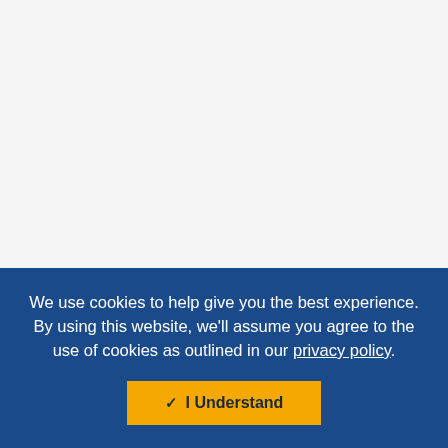[Figure (other): Empty light gray background area at the top of the page, representing a website content area covered by a cookie consent overlay.]
We use cookies to help give you the best experience. By using this website, we'll assume you agree to the use of cookies as outlined in our privacy policy.
✓ I Understand